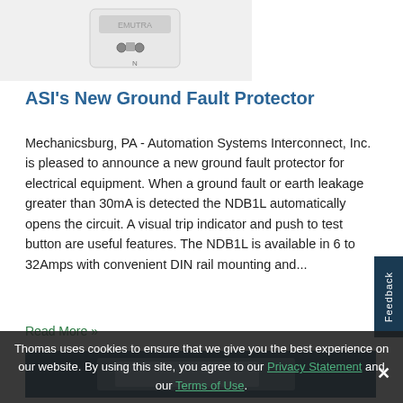[Figure (photo): Photo of a white ground fault protector device (NDB1L) against white background]
ASI's New Ground Fault Protector
Mechanicsburg, PA - Automation Systems Interconnect, Inc. is pleased to announce a new ground fault protector for electrical equipment. When a ground fault or earth leakage greater than 30mA is detected the NDB1L automatically opens the circuit. A visual trip indicator and push to test button are useful features. The NDB1L is available in 6 to 32Amps with convenient DIN rail mounting and...
Read More »
[Figure (photo): Partial image of another product with blue background]
Thomas uses cookies to ensure that we give you the best experience on our website. By using this site, you agree to our Privacy Statement and our Terms of Use.